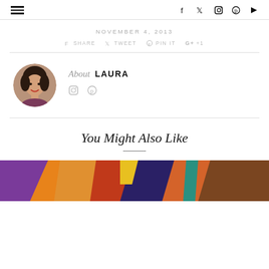Navigation and social icons header
NOVEMBER 4, 2013
SHARE  TWEET  PIN IT  +1
About LAURA
[Figure (photo): Circular avatar photo of Laura, a woman with dark curly hair and red lipstick]
Social icons: Instagram, Pinterest
You Might Also Like
[Figure (photo): Colorful patchwork or quilted fabric image at the bottom of the page]